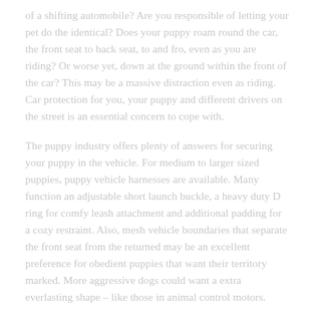of a shifting automobile? Are you responsible of letting your pet do the identical? Does your puppy roam round the car, the front seat to back seat, to and fro, even as you are riding? Or worse yet, down at the ground within the front of the car? This may be a massive distraction even as riding. Car protection for you, your puppy and different drivers on the street is an essential concern to cope with.
The puppy industry offers plenty of answers for securing your puppy in the vehicle. For medium to larger sized puppies, puppy vehicle harnesses are available. Many function an adjustable short launch buckle, a heavy duty D ring for comfy leash attachment and additional padding for a cozy restraint. Also, mesh vehicle boundaries that separate the front seat from the returned may be an excellent preference for obedient puppies that want their territory marked. More aggressive dogs could want a extra everlasting shape – like those in animal control motors.
For the smaller dogs, automobile console seats are a remarkable